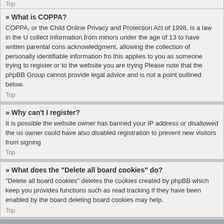Top
» What is COPPA?
COPPA, or the Child Online Privacy and Protection Act of 1998, is a law in the U... collect information from minors under the age of 13 to have written parental cons... acknowledgment, allowing the collection of personally identifiable information fro... this applies to you as someone trying to register or to the website you are trying... Please note that the phpBB Group cannot provide legal advice and is not a point... outlined below.
Top
» Why can't I register?
It is possible the website owner has banned your IP address or disallowed the us... owner could have also disabled registration to prevent new visitors from signing...
Top
» What does the “Delete all board cookies” do?
“Delete all board cookies” deletes the cookies created by phpBB which keep you... provides functions such as read tracking if they have been enabled by the board... deleting board cookies may help.
Top
User Preferences and settings
» How do I change my settings?
If you are a registered user, all your settings are stored in the board database. To